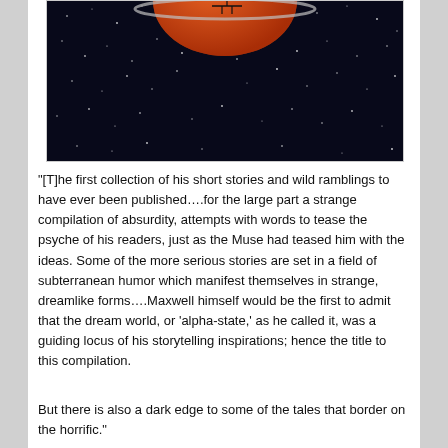[Figure (illustration): Book cover image showing a dark space scene with stars, an orange/red planet, and spacecraft silhouette against a dark navy/black sky]
“[T]he first collection of his short stories and wild ramblings to have ever been published….for the large part a strange compilation of absurdity, attempts with words to tease the psyche of his readers, just as the Muse had teased him with the ideas. Some of the more serious stories are set in a field of subterranean humor which manifest themselves in strange, dreamlike forms….Maxwell himself would be the first to admit that the dream world, or ‘alpha-state,’ as he called it, was a guiding locus of his storytelling inspirations; hence the title to this compilation.
But there is also a dark edge to some of the tales that border on the horrific.”